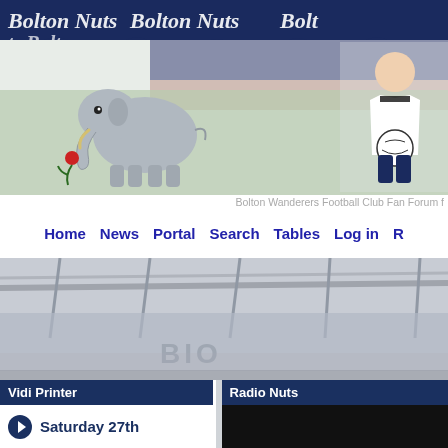[Figure (screenshot): Bolton Nuts fan forum website header banner showing 'Bolton Nuts' text repeated, a cartoon elephant with a red rose, and a young footballer holding a ball in a stadium]
Bolton Wanderers Football Club Fan Forum f
Home  News  Portal  Search  Tables  Log in  R
[Figure (photo): Stadium interior background image showing stands and pitch area, faded/greyed out]
Vidi Printer
Radio Nuts
Saturday 27th